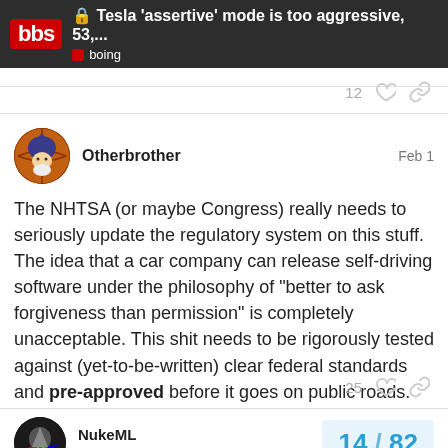Tesla ‘assertive’ mode is too aggressive, 53,... | boing
12 [likes] [link]
Otherbrother  Feb 1
The NHTSA (or maybe Congress) really needs to seriously update the regulatory system on this stuff. The idea that a car company can release self-driving software under the philosophy of “better to ask forgiveness than permission” is completely unacceptable. This shit needs to be rigorously tested against (yet-to-be-written) clear federal standards and pre-approved before it goes on public roads.
25 [likes] [link]
NukeML  Regular  14 / 82